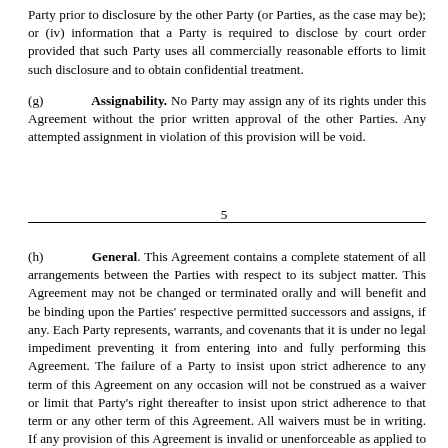Party prior to disclosure by the other Party (or Parties, as the case may be); or (iv) information that a Party is required to disclose by court order provided that such Party uses all commercially reasonable efforts to limit such disclosure and to obtain confidential treatment.
(g) Assignability. No Party may assign any of its rights under this Agreement without the prior written approval of the other Parties. Any attempted assignment in violation of this provision will be void.
5
(h) General. This Agreement contains a complete statement of all arrangements between the Parties with respect to its subject matter. This Agreement may not be changed or terminated orally and will benefit and be binding upon the Parties' respective permitted successors and assigns, if any. Each Party represents, warrants, and covenants that it is under no legal impediment preventing it from entering into and fully performing this Agreement. The failure of a Party to insist upon strict adherence to any term of this Agreement on any occasion will not be construed as a waiver or limit that Party's right thereafter to insist upon strict adherence to that term or any other term of this Agreement. All waivers must be in writing. If any provision of this Agreement is invalid or unenforceable as applied to any circumstance, the balance of this Agreement including the remaining provisions may be applied to the